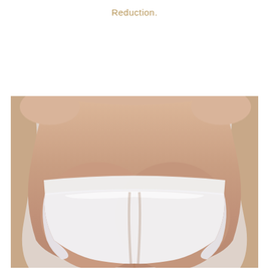Reduction.
[Figure (photo): Clinical photograph showing posterior view of female buttocks and hips wearing white bikini underwear, used in context of body contouring or reduction procedure documentation.]